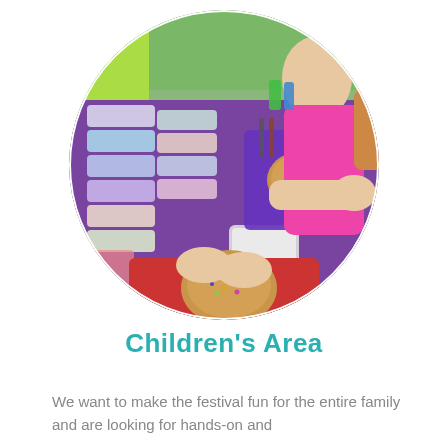[Figure (photo): Circular cropped photo of children doing a craft activity at a table with a purple tablecloth. Various plastic containers with colored materials are arranged on the left. A child in a pink bib/apron is in the foreground working on a wooden cookie/disc decorated with sprinkles on a red tray. Another child is visible in the background. The table has craft supplies including scissors, brushes, and colorful containers.]
Children's Area
We want to make the festival fun for the entire family and are looking for hands-on and